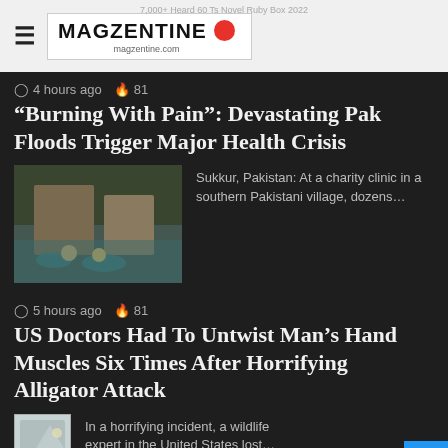MAGZENTINE magzentine.com
4 hours ago 🔥 81
“Burning With Pain”: Devastating Pak Floods Trigger Major Health Crisis
[Figure (photo): People wading through floodwaters in a southern Pakistani village]
Sukkur, Pakistan: At a charity clinic in a southern Pakistani village, dozens…
5 hours ago 🔥 81
US Doctors Had To Untwist Man’s Hand Muscles Six Times After Horrifying Alligator Attack
[Figure (photo): Small thumbnail image placeholder for alligator article]
In a horrifying incident, a wildlife expert in the United States lost…
5 hours ago 🔥 82